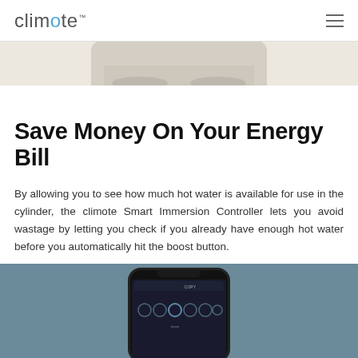climote
[Figure (photo): Bottom portion of a smart home device on a light beige/cream background]
Save Money On Your Energy Bill
By allowing you to see how much hot water is available for use in the cylinder, the climote Smart Immersion Controller lets you avoid wastage by letting you check if you already have enough hot water before you automatically hit the boost button.
[Figure (photo): Top portion of a smartphone showing the climote app interface, on a steel blue/grey background]